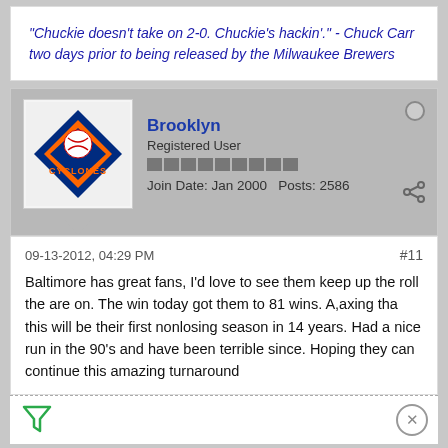"Chuckie doesn't take on 2-0. Chuckie's hackin'." - Chuck Carr two days prior to being released by the Milwaukee Brewers
Brooklyn
Registered User
Join Date: Jan 2000   Posts: 2586
09-13-2012, 04:29 PM
#11
Baltimore has great fans, I'd love to see them keep up the roll the are on. The win today got them to 81 wins. A,axing tha this will be their first nonlosing season in 14 years. Had a nice run in the 90's and have been terrible since. Hoping they can continue this amazing turnaround
[Figure (other): Disney Bundle advertisement banner with Hulu, Disney+, ESPN+ logos and GET THE DISNEY BUNDLE call to action]